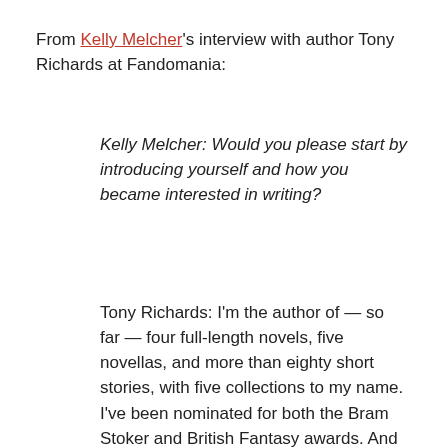From Kelly Melcher's interview with author Tony Richards at Fandomania:
Kelly Melcher: Would you please start by introducing yourself and how you became interested in writing?
Tony Richards: I'm the author of — so far — four full-length novels, five novellas, and more than eighty short stories, with five collections to my name. I've been nominated for both the Bram Stoker and British Fantasy awards. And yes, I'm a full time writer.
[Figure (photo): Book cover with title TONY RICHARDS and subtitle Author of Dark Rain, with colorful abstract art background in red, orange, purple, and blue tones]
I'm not sur